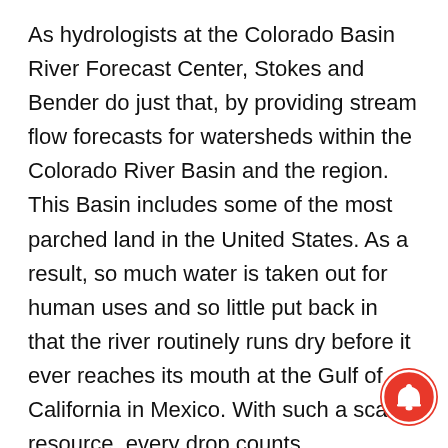As hydrologists at the Colorado Basin River Forecast Center, Stokes and Bender do just that, by providing stream flow forecasts for watersheds within the Colorado River Basin and the region. This Basin includes some of the most parched land in the United States. As a result, so much water is taken out for human uses and so little put back in that the river routinely runs dry before it ever reaches its mouth at the Gulf of California in Mexico. With such a scarce resource, every drop counts.
“The forecasts we get from the center provide crucial information for managing our water resources and reservoir facilities,” said Dave
[Figure (illustration): Red circular notification bell icon in the bottom-right corner of the page]